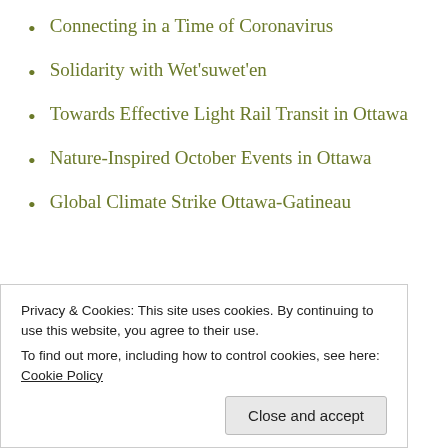Connecting in a Time of Coronavirus
Solidarity with Wet'suwet'en
Towards Effective Light Rail Transit in Ottawa
Nature-Inspired October Events in Ottawa
Global Climate Strike Ottawa-Gatineau
Archives
Privacy & Cookies: This site uses cookies. By continuing to use this website, you agree to their use.
To find out more, including how to control cookies, see here: Cookie Policy